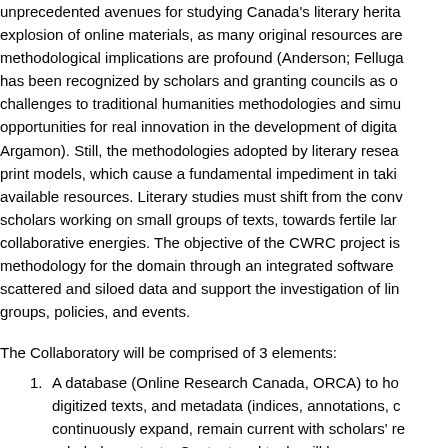unprecedented avenues for studying Canada's literary heritage. The explosion of online materials, as many original resources are digitized, methodological implications are profound (Anderson; Felluga). This shift has been recognized by scholars and granting councils as one that poses challenges to traditional humanities methodologies and simultaneously creates opportunities for real innovation in the development of digital tools (Argamon). Still, the methodologies adopted by literary researchers mirror print models, which cause a fundamental impediment in taking advantage of available resources. Literary studies must shift from the conventional model of scholars working on small groups of texts, towards fertile large-scale collaborative energies. The objective of the CWRC project is to shift methodology for the domain through an integrated software toolkit to link scattered and siloed data and support the investigation of literary persons, groups, policies, and events.
The Collaboratory will be comprised of 3 elements:
1. A database (Online Research Canada, ORCA) to house born-digital, digitized texts, and metadata (indices, annotations, critical essays) that will continuously expand, remain current with scholars' research, and provide scholarly contexts. Content and tools will be open access and will be designed for interoperability with other systems.
2. A CWRC toolkit for empowering new collaborative methods of writing, editing, annotating, and analyzing materials in and beyond CWRC, collaborating with researchers with intersecting interests in persons, relations, events and trends, through automated methods.